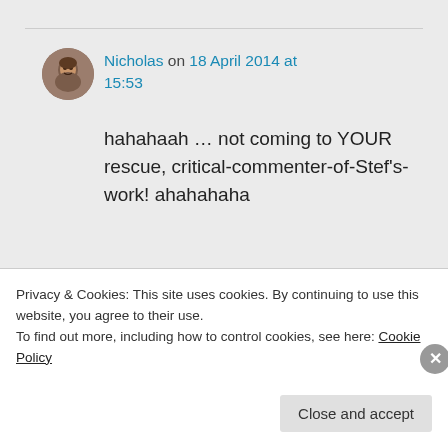Nicholas on 18 April 2014 at 15:53
hahahaah … not coming to YOUR rescue, critical-commenter-of-Stef's-work! ahahahaha
★ Like
↪ Reply
Privacy & Cookies: This site uses cookies. By continuing to use this website, you agree to their use.
To find out more, including how to control cookies, see here: Cookie Policy
Close and accept